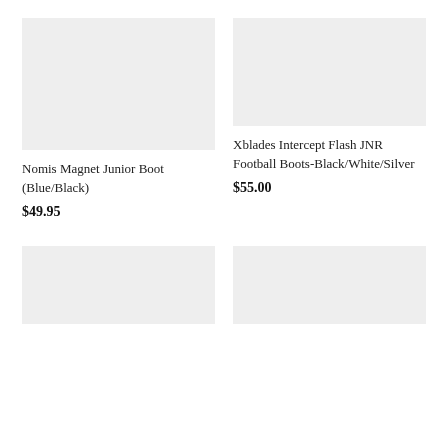[Figure (photo): Product image placeholder – Nomis Magnet Junior Boot (Blue/Black), light gray rectangle]
Nomis Magnet Junior Boot (Blue/Black)
$49.95
[Figure (photo): Product image placeholder – Xblades Intercept Flash JNR Football Boots-Black/White/Silver, light gray rectangle]
Xblades Intercept Flash JNR Football Boots-Black/White/Silver
$55.00
[Figure (photo): Product image placeholder – bottom left, light gray rectangle]
[Figure (photo): Product image placeholder – bottom right, light gray rectangle]